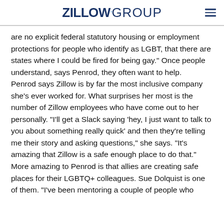ZILLOW GROUP
are no explicit federal statutory housing or employment protections for people who identify as LGBT, that there are states where I could be fired for being gay.” Once people understand, says Penrod, they often want to help.
Penrod says Zillow is by far the most inclusive company she’s ever worked for. What surprises her most is the number of Zillow employees who have come out to her personally. “I’ll get a Slack saying ‘hey, I just want to talk to you about something really quick’ and then they’re telling me their story and asking questions,” she says. “It’s amazing that Zillow is a safe enough place to do that.”
More amazing to Penrod is that allies are creating safe places for their LGBTQ+ colleagues. Sue Dolquist is one of them. “I’ve been mentoring a couple of people who